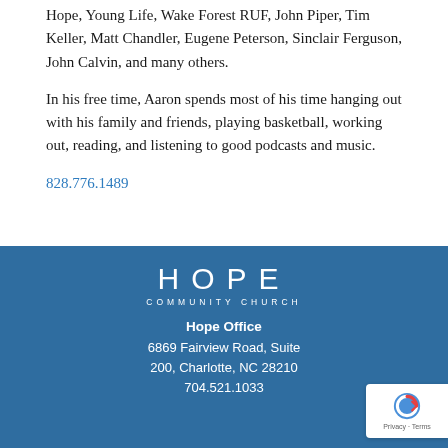Hope, Young Life, Wake Forest RUF, John Piper, Tim Keller, Matt Chandler, Eugene Peterson, Sinclair Ferguson, John Calvin, and many others.
In his free time, Aaron spends most of his time hanging out with his family and friends, playing basketball, working out, reading, and listening to good podcasts and music.
828.776.1489
[Figure (logo): HOPE COMMUNITY CHURCH logo in white text on blue background]
Hope Office
6869 Fairview Road, Suite 200, Charlotte, NC 28210
704.521.1033